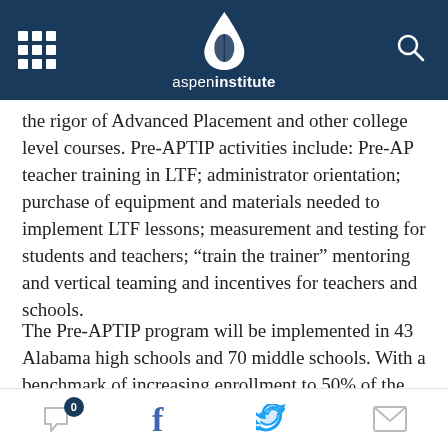Aspen Institute
the rigor of Advanced Placement and other college level courses. Pre-APTIP activities include: Pre-AP teacher training in LTF; administrator orientation; purchase of equipment and materials needed to implement LTF lessons; measurement and testing for students and teachers; “train the trainer” mentoring and vertical teaming and incentives for teachers and schools.
The Pre-APTIP program will be implemented in 43 Alabama high schools and 70 middle schools. With a benchmark of increasing enrollment to 50% of the student population by year three, we will enroll a total of 20,400 students in Pre-AP...
0 | f | Twitter | mail